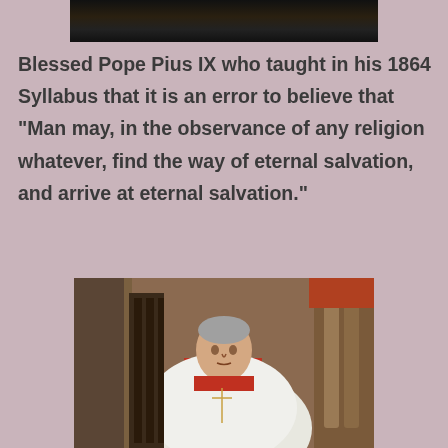[Figure (photo): Top portion of a black and white photo, partially visible at the top of the page]
Blessed Pope Pius IX who taught in his 1864 Syllabus that it is an error to believe that "Man may, in the observance of any religion whatever, find the way of eternal salvation, and arrive at eternal salvation."
[Figure (photo): Portrait painting of Pope Pius IX seated, wearing white and red papal vestments with a cross, set against a classical architectural background]